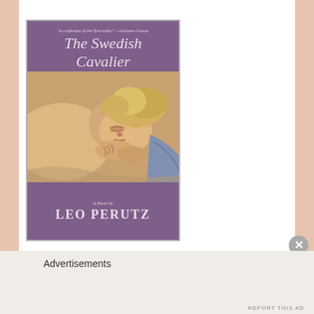[Figure (illustration): Book cover for 'The Swedish Cavalier' by Leo Perutz. Purple/mauve background. Top section has quote: 'A craftsman of the first order' - Graham Greene, and large italic title 'The Swedish Cavalier'. Center shows a painting of a sleeping/reclining woman with blonde curls, resting her head on her hands, with fabric in the background. Bottom section reads 'A Novel by' in italic and 'LEO PERUTZ' in large letters.]
Advertisements